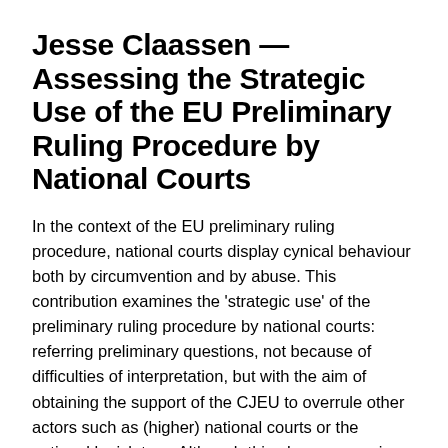Jesse Claassen — Assessing the Strategic Use of the EU Preliminary Ruling Procedure by National Courts
In the context of the EU preliminary ruling procedure, national courts display cynical behaviour both by circumvention and by abuse. This contribution examines the 'strategic use' of the preliminary ruling procedure by national courts: referring preliminary questions, not because of difficulties of interpretation, but with the aim of obtaining the support of the CJEU to overrule other actors such as (higher) national courts or the national legislature. Although this phenomenon in itself is not new, the contribution focuses on the unaddressed question: is it problematic that national courts use the preliminary ruling procedure for others means than what it is intended for? It is first argued that this behaviour is...